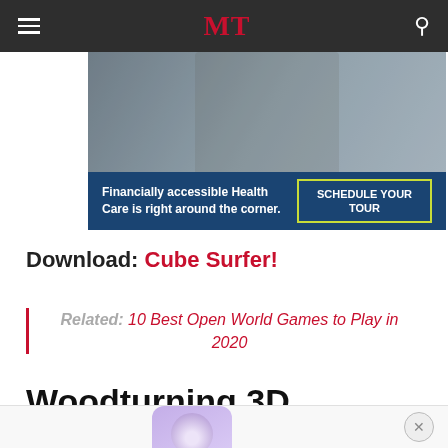MT
[Figure (photo): Advertisement: Two people in a medical/rehabilitation setting. Text: 'Financially accessible Health Care is right around the corner.' with a 'SCHEDULE YOUR TOUR' button.]
Download: Cube Surfer!
Related: 10 Best Open World Games to Play in 2020
Woodturning 3D
[Figure (photo): App icon for Woodturning 3D, purple/lavender gradient background with partial icon visible.]